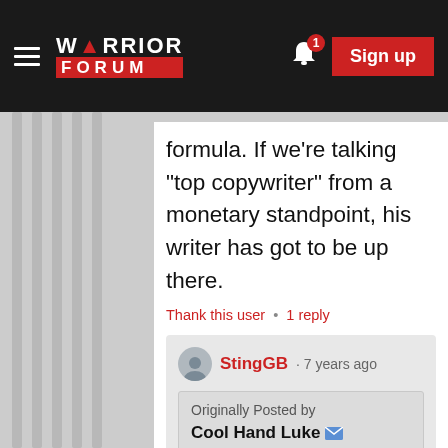[Figure (screenshot): Warrior Forum navigation bar with hamburger menu, logo, bell notification badge showing 1, and red Sign up button]
formula. If we're talking "top copywriter" from a monetary standpoint, his writer has got to be up there.
Thank this user • 1 reply
StingGB · 7 years ago
Originally Posted by Cool Hand Luke
I googled Clayton